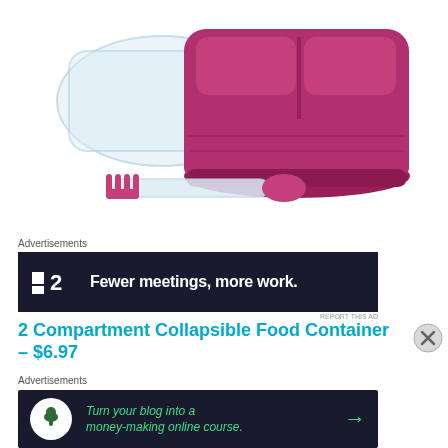[Figure (photo): Pink/magenta 2-compartment collapsible silicone food container with a clear lid propped open, accompanied by a pink and white spork/spoon-fork utensil, displayed on white background]
Advertisements
[Figure (screenshot): Dark navy advertisement banner for a project management or productivity tool showing logo '2' and text 'Fewer meetings, more work.']
REPORT THIS AD
2 Compartment Collapsible Food Container – $6.97
Advertisements
[Figure (screenshot): Dark advertisement banner with a white circle icon showing a tree/person figure, and green italic text 'Turn your blog into a money-making online course.' with a green arrow pointing right]